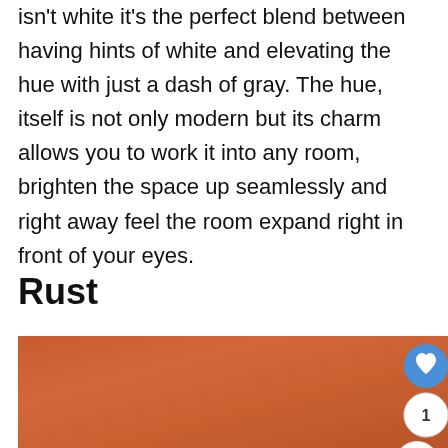isn't white it's the perfect blend between having hints of white and elevating the hue with just a dash of gray. The hue, itself is not only modern but its charm allows you to work it into any room, brighten the space up seamlessly and right away feel the room expand right in front of your eyes.
Rust
[Figure (photo): A rust-colored (terracotta/burnt orange) rectangular color swatch filling the bottom portion of the image, with UI overlay buttons: a blue circular heart/favorite button, a white circular button showing '1', and a white circular share button with a share icon.]